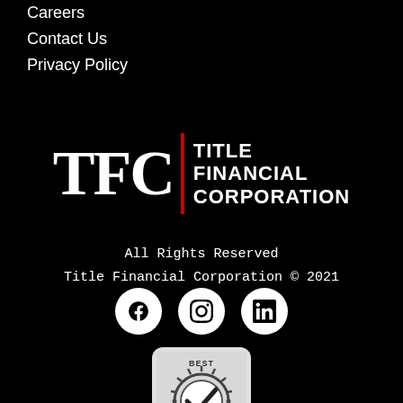Careers
Contact Us
Privacy Policy
[Figure (logo): TFC Title Financial Corporation logo — large white serif TFC letters, red vertical bar divider, and bold all-caps text TITLE FINANCIAL CORPORATION]
All Rights Reserved
Title Financial Corporation © 2021
[Figure (infographic): Three social media icons in white circles: Facebook (f), Instagram (camera), LinkedIn (in)]
[Figure (illustration): Best Practices badge — circular gear/seal with checkmark and text BEST PRACTICES, on light grey rounded square background]